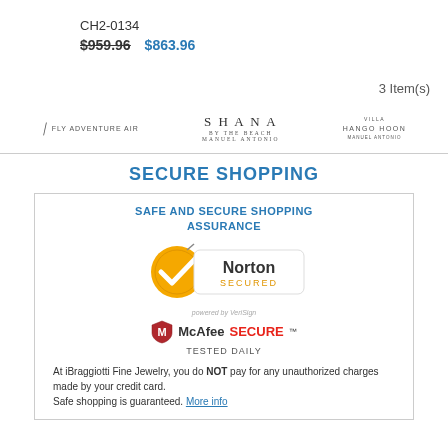CH2-0134
$959.96  $863.96
3 Item(s)
[Figure (logo): Fly Adventure Air logo, Shana By The Beach logo, and Hango Hoon logo]
SECURE SHOPPING
SAFE AND SECURE SHOPPING ASSURANCE
[Figure (logo): Norton Secured powered by VeriSign badge and McAfee SECURE Tested Daily badge]
At iBraggiotti Fine Jewelry, you do NOT pay for any unauthorized charges made by your credit card.
Safe shopping is guaranteed. More info